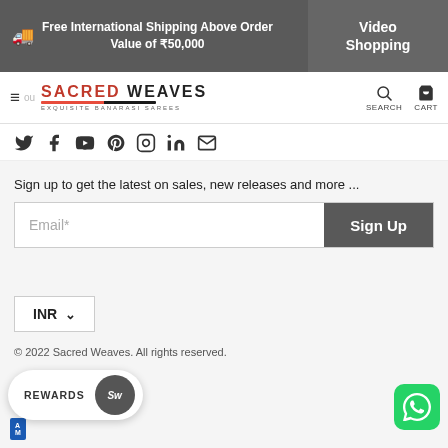Free International Shipping Above Order Value of ₹50,000 | Video Shopping
[Figure (screenshot): Sacred Weaves website navigation bar with logo, hamburger menu, search and cart icons]
Social media icons: Twitter, Facebook, YouTube, Pinterest, Instagram, LinkedIn, Email
Sign up to get the latest on sales, new releases and more ...
Email* [input field] Sign Up [button]
INR ∨
© 2022 Sacred Weaves. All rights reserved.
REWARDS Sw [button]